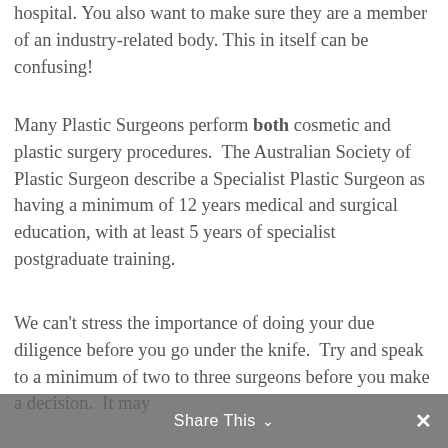hospital. You also want to make sure they are a member of an industry-related body. This in itself can be confusing!
Many Plastic Surgeons perform both cosmetic and plastic surgery procedures.  The Australian Society of Plastic Surgeon describe a Specialist Plastic Surgeon as having a minimum of 12 years medical and surgical education, with at least 5 years of specialist postgraduate training.
We can't stress the importance of doing your due diligence before you go under the knife.  Try and speak to a minimum of two to three surgeons before you make a decision.  It may
Share This